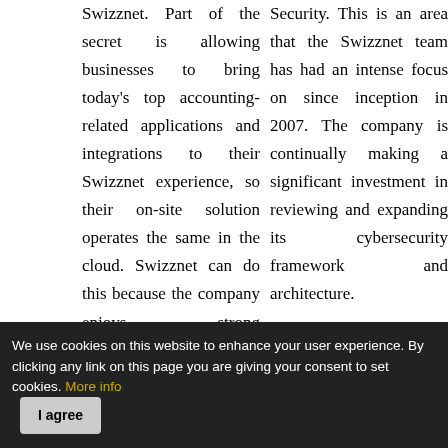Swizznet. Part of the secret is allowing businesses to bring today's top accounting-related applications and integrations to their Swizznet experience, so their on-site solution operates the same in the cloud. Swizznet can do this because the company enjoys strong relationships and interoperability with those 3rd Party
Security. This is an area that the Swizznet team has had an intense focus on since inception in 2007. The company is continually making a significant investment in reviewing and expanding its cybersecurity framework and architecture.

With a sound technology that helps
We use cookies on this website to enhance your user experience. By clicking any link on this page you are giving your consent to set cookies. More info